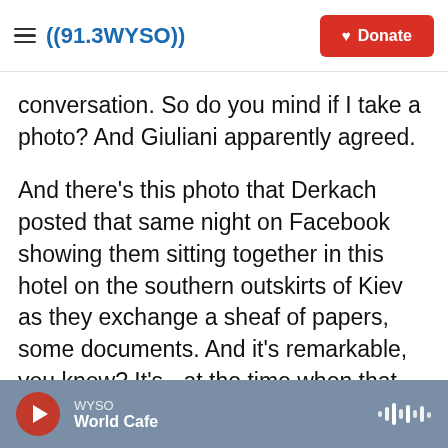((91.3 WYSO)) | Donate
conversation. So do you mind if I take a photo? And Giuliani apparently agreed.
And there's this photo that Derkach posted that same night on Facebook showing them sitting together in this hotel on the southern outskirts of Kiev as they exchange a sheaf of papers, some documents. And it's remarkable, you know? It's - at the time when that photo came out, it blew my mind because, you know, I knew already then who Derkach was and his connections to - historical connections to the Russian intelligence agencies. And just to see that posted on Facebook, you know
WYSO | World Cafe